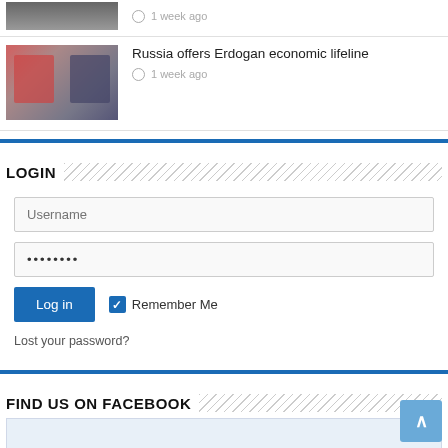[Figure (photo): Partial news item image at top, two men seated]
1 week ago
[Figure (photo): Two men in suits seated across from each other at a meeting, one in red-striped tie]
Russia offers Erdogan economic lifeline
1 week ago
LOGIN
Username
••••••••
Log in
Remember Me
Lost your password?
FIND US ON FACEBOOK